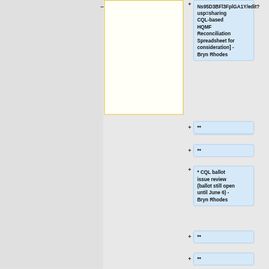[Figure (screenshot): Screenshot of a collaborative document tool (likely a wiki or structured document editor) showing a tree/outline structure. A yellow-bordered box is visible on the left portion. On the right side are several collapsible list items with '+' expand icons, rendered with light blue backgrounds and rounded corners.]
Ns95D3BFl3FplGA1Y/edit?usp=sharing CQL-based HQMF Reconciliation Spreadsheet for consideration] - Bryn Rhodes
**
**
* CQL ballot issue review (ballot still open until June 6) - Bryn Rhodes
**
**